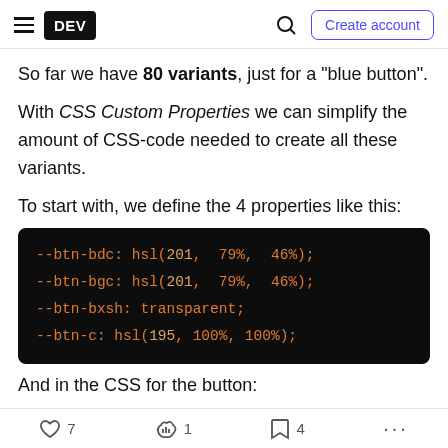DEV | Create account
So far we have 80 variants, just for a "blue button".
With CSS Custom Properties we can simplify the amount of CSS-code needed to create all these variants.
To start with, we define the 4 properties like this:
[Figure (screenshot): Code block on dark background showing CSS custom properties:
--btn-bdc: hsl(201, 79%, 46%);
--btn-bgc: hsl(201, 79%, 46%);
--btn-bxsh: transparent;
--btn-c: hsl(195, 100%, 100%);]
And in the CSS for the button:
7 likes  1 unicorn  4 bookmarks  ...